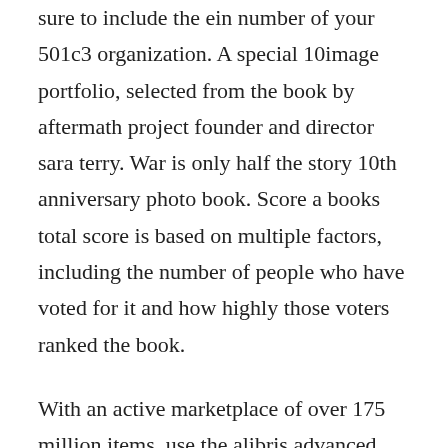sure to include the ein number of your 501c3 organization. A special 10image portfolio, selected from the book by aftermath project founder and director sara terry. War is only half the story 10th anniversary photo book. Score a books total score is based on multiple factors, including the number of people who have voted for it and how highly those voters ranked the book.
With an active marketplace of over 175 million items, use the alibris advanced search page to find any item you are looking for through the advanced search page to find